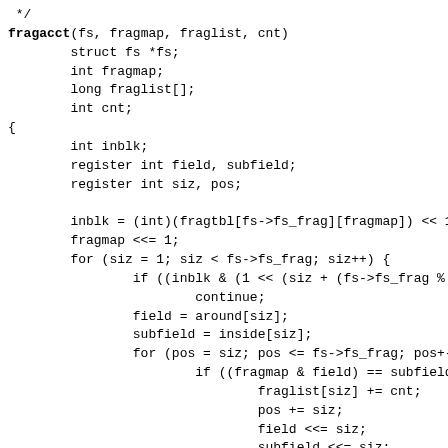C source code fragment showing the fragacct function definition